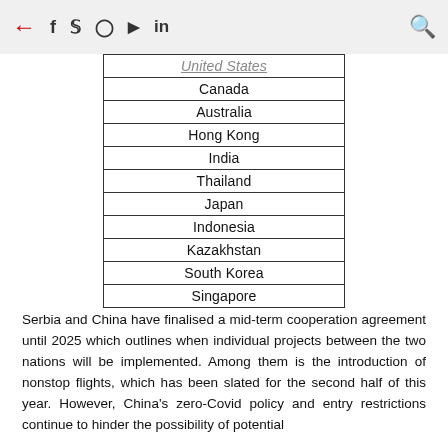← f 𝕏 📷 ▶ in 🔍
| United States |
| Canada |
| Australia |
| Hong Kong |
| India |
| Thailand |
| Japan |
| Indonesia |
| Kazakhstan |
| South Korea |
| Singapore |
Serbia and China have finalised a mid-term cooperation agreement until 2025 which outlines when individual projects between the two nations will be implemented. Among them is the introduction of nonstop flights, which has been slated for the second half of this year. However, China's zero-Covid policy and entry restrictions continue to hinder the possibility of potential